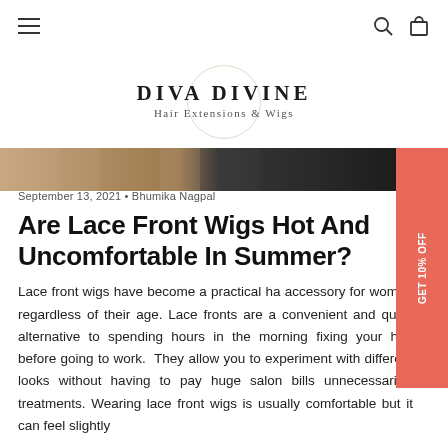DIVA DIVINE Hair Extensions & Wigs
[Figure (photo): Hero banner showing hair extensions/wigs in warm and dark tones]
September 13, 2021 • Bhumika Nagpal
Are Lace Front Wigs Hot And Uncomfortable In Summer?
Lace front wigs have become a practical hair accessory for women regardless of their age. Lace fronts are a convenient and quick alternative to spending hours in the morning fixing your hair before going to work. They allow you to experiment with different looks without having to pay huge salon bills unnecessarily. treatments. Wearing lace front wigs is usually comfortable but it can feel slightly